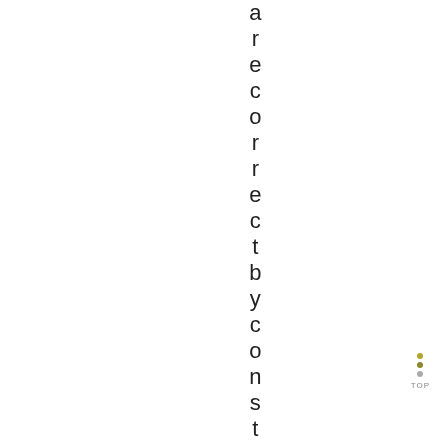are correct by construction. Su
[Figure (other): Navigation dots (yellow, olive, gray) with TOP label below]